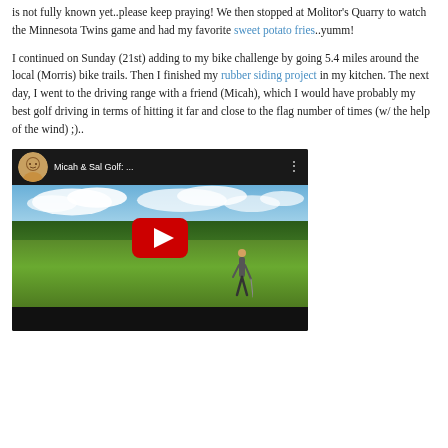is not fully known yet..please keep praying! We then stopped at Molitor's Quarry to watch the Minnesota Twins game and had my favorite sweet potato fries..yumm!
I continued on Sunday (21st) adding to my bike challenge by going 5.4 miles around the local (Morris) bike trails. Then I finished my rubber siding project in my kitchen. The next day, I went to the driving range with a friend (Micah), which I would have probably my best golf driving in terms of hitting it far and close to the flag number of times (w/ the help of the wind) ;)..
[Figure (screenshot): YouTube video thumbnail for 'Micah & Sal Golf: ...' showing a golfer on a green field with trees and cloudy sky in the background, with a red YouTube play button in the center.]